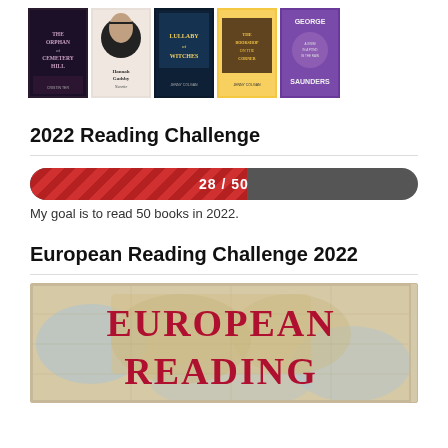[Figure (illustration): Row of 5 book covers displayed horizontally: 'The Orphan of Cemetery Hill', 'Hannah Gadsby: Nanette', 'Lullaby of Witches', a book by Jenny Colgan, and a George Saunders book]
2022 Reading Challenge
[Figure (infographic): Progress bar showing 28/50 books read in 2022, displayed as a red striped fill over a dark grey background bar]
My goal is to read 50 books in 2022.
European Reading Challenge 2022
[Figure (illustration): Book cover or banner image with text 'EUROPEAN READING' in large red letters over a vintage map background]